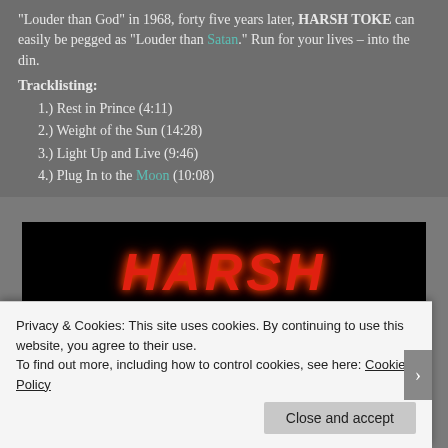"Louder than God" in 1968, forty five years later, HARSH TOKE can easily be pegged as "Louder than Satan." Run for your lives – into the din.
Tracklisting:
1.) Rest in Prince (4:11)
2.) Weight of the Sun (14:28)
3.) Light Up and Live (9:46)
4.) Plug In to the Moon (10:08)
[Figure (photo): Concert/album photo showing the word HARSH in large red flame-style lettering on a dark background, with a stage light glowing orange below]
Privacy & Cookies: This site uses cookies. By continuing to use this website, you agree to their use.
To find out more, including how to control cookies, see here: Cookie Policy
Close and accept